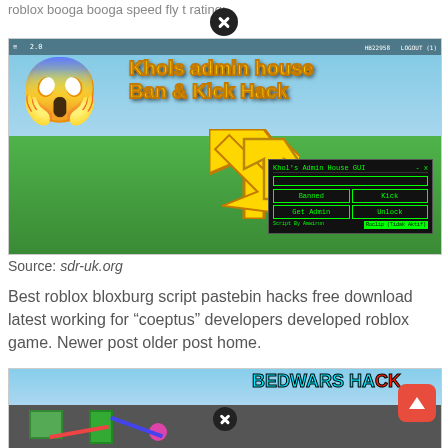roblox booga booga speed fly t rating:
[Figure (screenshot): Screenshot of a Roblox game showing 'Khols admin house Ban & Kick Hack' thumbnail with emoji, yellow arrow pointing to a GUI panel with Ban, Kick, Get Admin, Unlock buttons on a green game field]
Source: sdr-uk.org
Best roblox bloxburg script pastebin hacks free download latest working for “coeptus” developers developed roblox game. Newer post older post home.
[Figure (screenshot): Partial screenshot of a Roblox Bedwars Hack game thumbnail with BEDWARS HACK text in blue and red, showing blocky game characters]